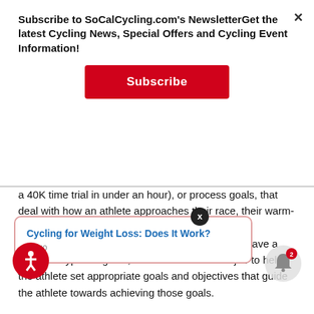Subscribe to SoCalCycling.com's NewsletterGet the latest Cycling News, Special Offers and Cycling Event Information!
Subscribe
a 40K time trial in under an hour), or process goals, that deal with how an athlete approaches their race, their warm-up strategy, or any task or method that will aid in accomplishing other set goals. An athlete should have a mix of all types of goals, and it is the coaches' job to help the athlete set appropriate goals and objectives that guide the athlete towards achieving those goals.
There are many ways by which a coach is able to help an athlete... the ... only a ... .forcement encouragement. However, Athletes are not solely motivated
Cycling for Weight Loss: Does It Work?
s ago